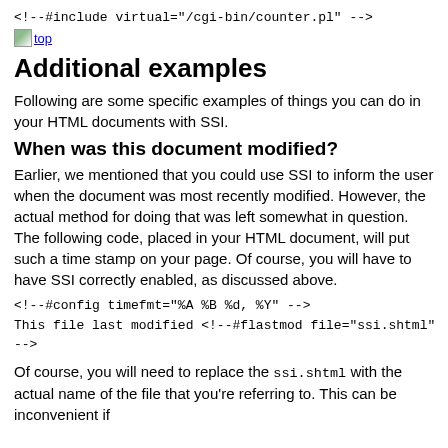<!--#include virtual="/cgi-bin/counter.pl" -->
[Figure (other): Small image icon with 'top' link text next to it]
Additional examples
Following are some specific examples of things you can do in your HTML documents with SSI.
When was this document modified?
Earlier, we mentioned that you could use SSI to inform the user when the document was most recently modified. However, the actual method for doing that was left somewhat in question. The following code, placed in your HTML document, will put such a time stamp on your page. Of course, you will have to have SSI correctly enabled, as discussed above.
<!--#config timefmt="%A %B %d, %Y" -->
This file last modified <!--#flastmod file="ssi.shtml" -->
Of course, you will need to replace the ssi.shtml with the actual name of the file that you're referring to. This can be inconvenient if